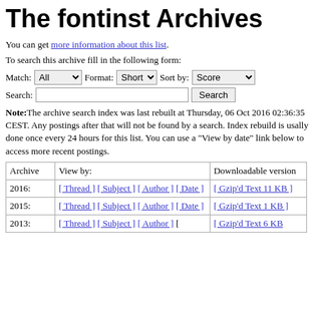The fontinst Archives
You can get more information about this list.
To search this archive fill in the following form:
Match: [All dropdown] Format: [Short dropdown] Sort by: [Score dropdown] Search: [text input] [Search button]
Note: The archive search index was last rebuilt at Thursday, 06 Oct 2016 02:36:35 CEST. Any postings after that will not be found by a search. Index rebuild is usally done once every 24 hours for this list. You can use a "View by date" link below to access more recent postings.
| Archive | View by: | Downloadable version |
| --- | --- | --- |
| 2016: | [ Thread ] [ Subject ] [ Author ] [ Date ] | [ Gzip'd Text 11 KB ] |
| 2015: | [ Thread ] [ Subject ] [ Author ] [ Date ] | [ Gzip'd Text 1 KB ] |
| 2013: | [ Thread ] [ Subject ] [ Author ] [ | [ Gzip'd Text 6 KB |